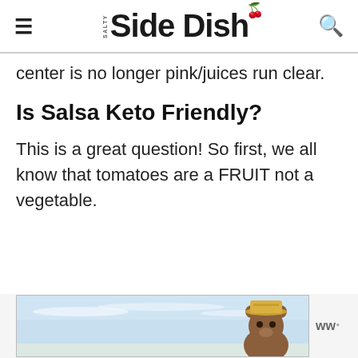Salty Side Dish
center is no longer pink/juices run clear.
Is Salsa Keto Friendly?
This is a great question! So first, we all know that tomatoes are a FRUIT not a vegetable.
[Figure (other): Advertisement banner with a cartoon bear character wearing a ranger hat against a sky background, with WW logo]